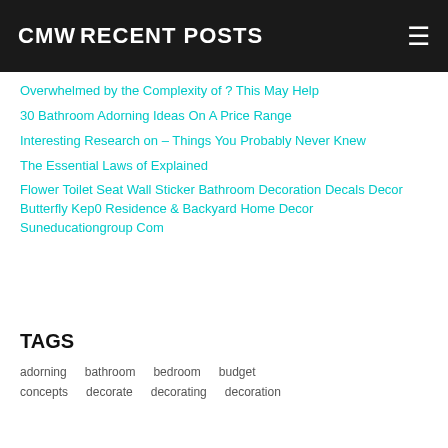CMW | RECENT POSTS
Overwhelmed by the Complexity of ? This May Help
30 Bathroom Adorning Ideas On A Price Range
Interesting Research on – Things You Probably Never Knew
The Essential Laws of Explained
Flower Toilet Seat Wall Sticker Bathroom Decoration Decals Decor Butterfly Kep0 Residence & Backyard Home Decor Suneducationgroup Com
TAGS
adorning
bathroom
bedroom
budget
concepts
decorate
decorating
decoration